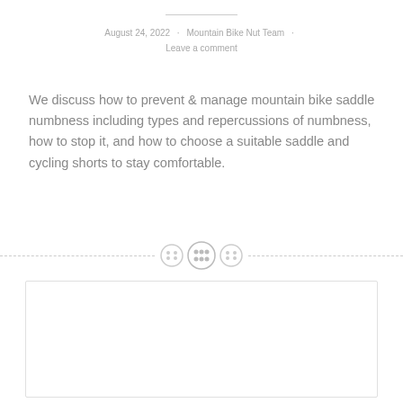August 24, 2022 · Mountain Bike Nut Team · Leave a comment
We discuss how to prevent & manage mountain bike saddle numbness including types and repercussions of numbness, how to stop it, and how to choose a suitable saddle and cycling shorts to stay comfortable.
[Figure (other): Decorative divider with three button icons and dashed horizontal lines on either side]
[Figure (photo): White/blank image placeholder box with light border]